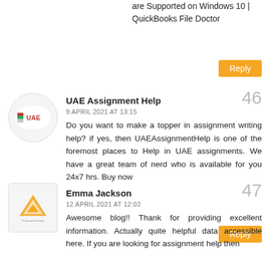are Supported on Windows 10 | QuickBooks File Doctor
Reply
UAE Assignment Help
46
9 APRIL 2021 AT 13:15
Do you want to make a topper in assignment writing help? if yes, then UAEAssignmentHelp is one of the foremost places to Help in UAE assignments. We have a great team of nerd who is available for you 24x7 hrs. Buy now
Reply
Emma Jackson
47
12 APRIL 2021 AT 12:02
Awesome blog!! Thank for providing excellent information. Actually quite helpful data accessible here. If you are looking for assignment help then